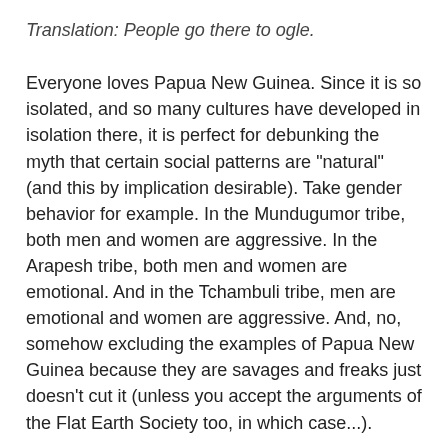Translation: People go there to ogle.
Everyone loves Papua New Guinea. Since it is so isolated, and so many cultures have developed in isolation there, it is perfect for debunking the myth that certain social patterns are "natural" (and this by implication desirable). Take gender behavior for example. In the Mundugumor tribe, both men and women are aggressive. In the Arapesh tribe, both men and women are emotional. And in the Tchambuli tribe, men are emotional and women are aggressive. And, no, somehow excluding the examples of Papua New Guinea because they are savages and freaks just doesn't cut it (unless you accept the arguments of the Flat Earth Society too, in which case...).
The language of biology is not gender-neutral. Sperm are usually portrayed as the valiant knights while eggs are the damsels in distress. But apparently eggs are actually the ones which attract the sperm, not the other way around, but if this nugget is mentioned, the eggs are portrayed as femme